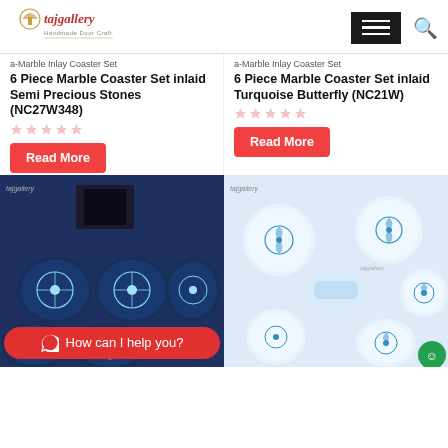tajgallery - Handmade Door Craft
a-Marble Inlay Coaster Set
6 Piece Marble Coaster Set inlaid Semi Precious Stones (NC27W348)
a-Marble Inlay Coaster Set
6 Piece Marble Coaster Set inlaid Turquoise Butterfly (NC21W)
Read More
Read More
[Figure (photo): Dark blue marble coaster set with white floral inlay design, with box holder]
[Figure (photo): White marble coaster set with turquoise butterfly floral inlay design]
How can I help you?